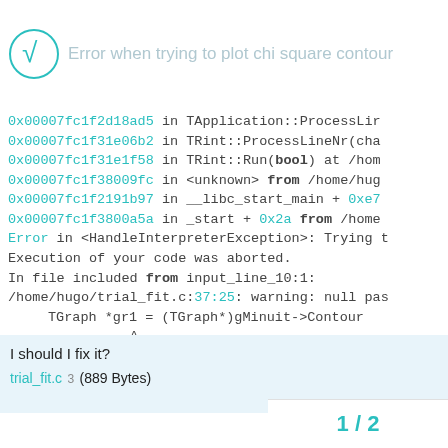Error when trying to plot chi square contour
0x00007fc1f2d18ad5 in TApplication::ProcessLin
0x00007fc1f31e06b2 in TRint::ProcessLineNr(cha
0x00007fc1f31e1f58 in TRint::Run(bool) at /hom
0x00007fc1f38009fc in <unknown> from /home/hug
0x00007fc1f2191b97 in __libc_start_main + 0xe7
0x00007fc1f3800a5a in _start + 0x2a from /home
Error in <HandleInterpreterException>: Trying t
Execution of your code was aborted.
In file included from input_line_10:1:
/home/hugo/trial_fit.c:37:25: warning: null pas
        TGraph *gr1 = (TGraph*)gMinuit->Contour
                                ^~~~~~~~
I should I fix it?
trial_fit.c  3  (889 Bytes)
1 / 2